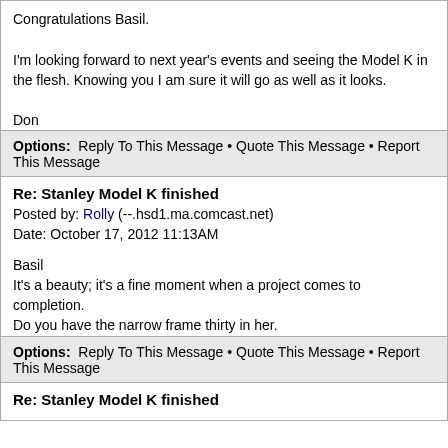Congratulations Basil.

I'm looking forward to next year's events and seeing the Model K in the flesh. Knowing you I am sure it will go as well as it looks.

Don
Options: Reply To This Message • Quote This Message • Report This Message
Re: Stanley Model K finished
Posted by: Rolly (--.hsd1.ma.comcast.net)
Date: October 17, 2012 11:13AM

Basil
It's a beauty; it's a fine moment when a project comes to completion.
Do you have the narrow frame thirty in her.
Rolly
Options: Reply To This Message • Quote This Message • Report This Message
Re: Stanley Model K finished
Posted by: (--.hsd1.mi.comcast.net)
Date: October 22, 2012 12:54PM

Stunningly beautiful restoration, Basil. A proud moment for you and well-deserved, to be sure.

Mark